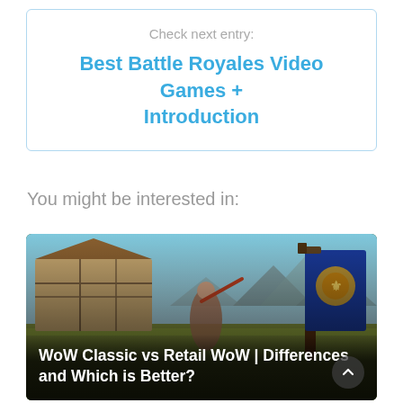Check next entry:
Best Battle Royales Video Games + Introduction
You might be interested in:
[Figure (screenshot): World of Warcraft gameplay screenshot showing a character with a weapon near a building and a blue Alliance banner with a lion crest, with mountains in the background.]
WoW Classic vs Retail WoW | Differences and Which is Better?